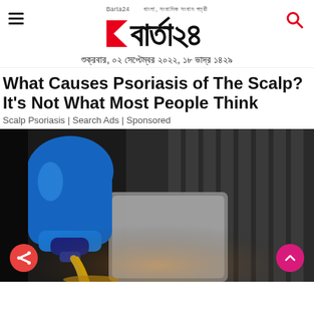Barta24 — বাংলার সংবাদিক সংবাদ পত্রী | শুক্রবার, ০২ সেপ্টেম্বর ২০২২, ১৮ ভাদ্র ১৪২৯
What Causes Psoriasis of The Scalp? It's Not What Most People Think
Scalp Psoriasis | Search Ads | Sponsored
[Figure (photo): A blue container of motor oil being poured into a car engine, with golden oil streaming down, engine parts visible in the background]